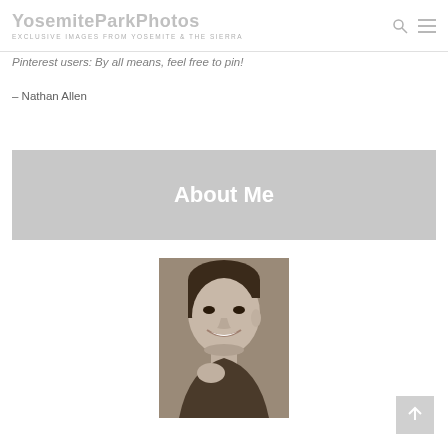YosemiteParkPhotos — EXCLUSIVE IMAGES FROM YOSEMITE & THE SIERRA
Pinterest users: By all means, feel free to pin!
– Nathan Allen
About Me
[Figure (photo): Black and white portrait photo of a smiling young man]